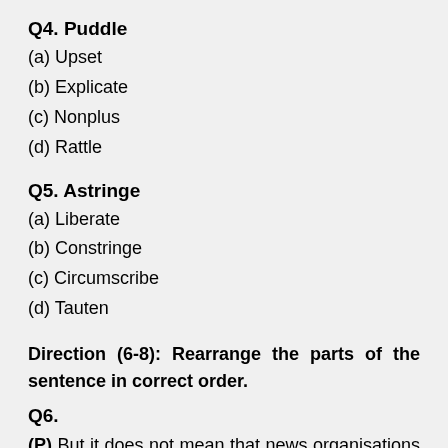Q4. Puddle
(a) Upset
(b) Explicate
(c) Nonplus
(d) Rattle
Q5. Astringe
(a) Liberate
(b) Constringe
(c) Circumscribe
(d) Tauten
Direction (6-8): Rearrange the parts of the sentence in correct order.
Q6.
(P) But it does not mean that news organisations need to imitate those in power.